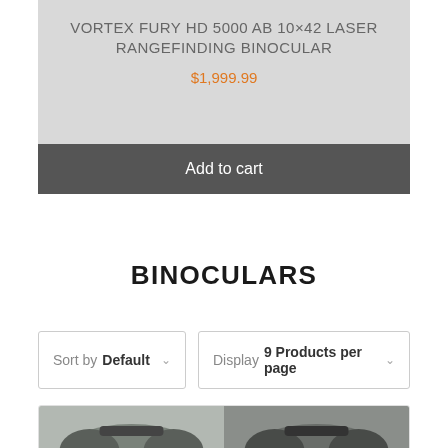VORTEX FURY HD 5000 AB 10×42 LASER RANGEFINDING BINOCULAR
$1,999.99
Add to cart
BINOCULARS
Sort by Default
Display 9 Products per page
[Figure (photo): Partial view of binoculars product thumbnails at the bottom of the page]